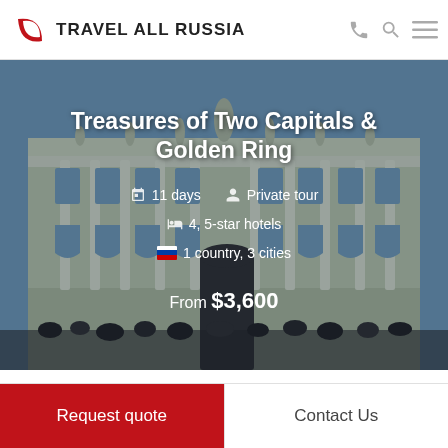TRAVEL ALL RUSSIA
[Figure (photo): Photo of ornate green and white palace building (Winter Palace / Hermitage, St. Petersburg) with crowds of tourists in front. Tour title overlay reads: Treasures of Two Capitals & Golden Ring. Details: 11 days, Private tour, 4,5-star hotels, 1 country, 3 cities, From $3,600.]
Treasures of Two Capitals & Golden Ring
11 days   Private tour
4, 5-star hotels
1 country, 3 cities
From $3,600